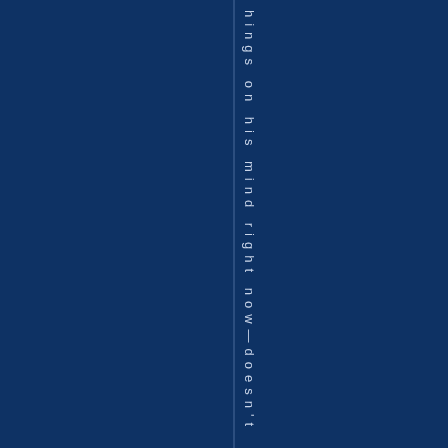[Figure (other): Dark navy blue background page with a vertical line dividing the page, and vertical text reading 'hings on his mind right now—doesn't' running top to bottom along the right side of the vertical line.]